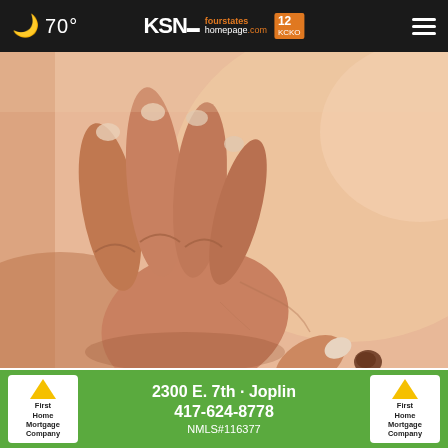🌙 70° | KSN fourstates homepage .com 12 | ≡
[Figure (photo): Close-up photo of a person's hand scratching or touching a skin mole/lesion on bare skin, related to plaque psoriasis article]
Do You Know What Plaque Psoriasis Is? (Take a Look)
Plaque...
[Figure (screenshot): Advertisement banner for First Home Mortgage Company: 2300 E. 7th · Joplin, 417-624-8778, NMLS#116377, green background with company logos on each side]